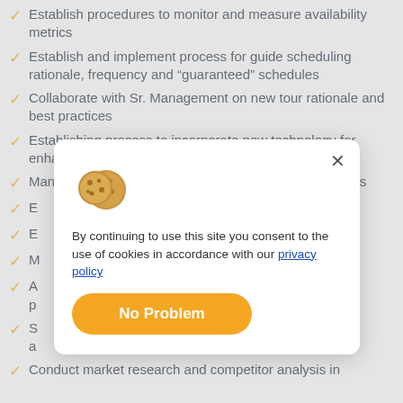Establish procedures to monitor and measure availability metrics
Establish and implement process for guide scheduling rationale, frequency and “guaranteed” schedules
Collaborate with Sr. Management on new tour rationale and best practices
Establishing process to incorporate new technology for enhanced tour experiences
Mange utilization of tour guides as content providers to s[obscured by modal]
E[obscured by modal]
E[obscured by modal] vant
M[obscured by modal]
A[obscured by modal] p[obscured by modal]
S[obscured by modal] a[obscured by modal]
Conduct market research and competitor analysis in
[Figure (other): Cookie consent modal dialog with cookie emoji illustration, close button (X), text about cookies and privacy policy link, and an orange 'No Problem' button]